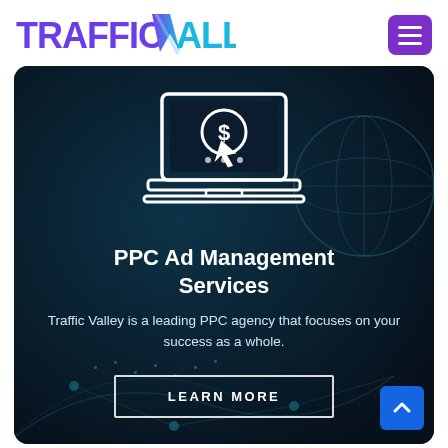[Figure (logo): Traffic Valley logo with purple TRAFFIC text, a cyan/purple V arrow shape, and cyan ALLEY text]
[Figure (illustration): Dark teal background hero section with laptop/PPC icon, globe network imagery, title, description, and LEARN MORE button]
PPC Ad Management Services
Traffic Valley is a leading PPC agency that focuses on your success as a whole.